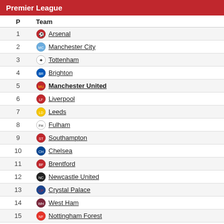Premier League
| P | Team |
| --- | --- |
| 1 | Arsenal |
| 2 | Manchester City |
| 3 | Tottenham |
| 4 | Brighton |
| 5 | Manchester United |
| 6 | Liverpool |
| 7 | Leeds |
| 8 | Fulham |
| 9 | Southampton |
| 10 | Chelsea |
| 11 | Brentford |
| 12 | Newcastle United |
| 13 | Crystal Palace |
| 14 | West Ham |
| 15 | Nottingham Forest |
| 16 | Bournemouth |